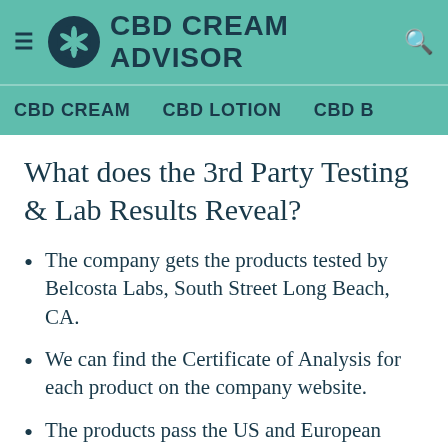CBD CREAM ADVISOR
What does the 3rd Party Testing & Lab Results Reveal?
The company gets the products tested by Belcosta Labs, South Street Long Beach, CA.
We can find the Certificate of Analysis for each product on the company website.
The products pass the US and European limits for THC content